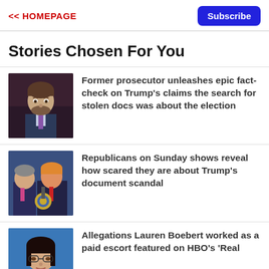<< HOMEPAGE | Subscribe
Stories Chosen For You
[Figure (photo): Headshot of a middle-aged man with a beard wearing a suit and tie against a dark background]
Former prosecutor unleashes epic fact-check on Trump's claims the search for stolen docs was about the election
[Figure (photo): Two men at a podium with a presidential seal, one with orange hair and one in a dark suit, with blue background]
Republicans on Sunday shows reveal how scared they are about Trump's document scandal
[Figure (photo): Woman with dark hair and glasses on a blue background]
Allegations Lauren Boebert worked as a paid escort featured on HBO's 'Real